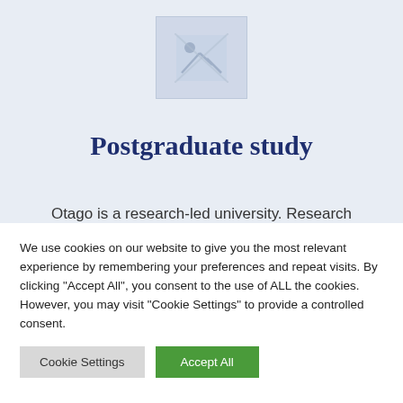[Figure (illustration): Placeholder image icon with a broken image symbol, light blue-grey background]
Postgraduate study
Otago is a research-led university. Research
We use cookies on our website to give you the most relevant experience by remembering your preferences and repeat visits. By clicking "Accept All", you consent to the use of ALL the cookies. However, you may visit "Cookie Settings" to provide a controlled consent.
Cookie Settings | Accept All